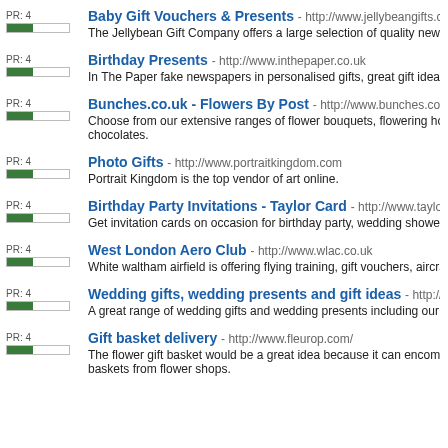Baby Gift Vouchers & Presents - http://www.jellybeangifts.co.uk/ - PR:4 - The Jellybean Gift Company offers a large selection of quality newborn baby gifts
Birthday Presents - http://www.inthepaper.co.uk - PR:4 - In The Paper fake newspapers in personalised gifts, great gift ideas for birthday g
Bunches.co.uk - Flowers By Post - http://www.bunches.co.uk/ - PR:4 - Choose from our extensive ranges of flower bouquets, flowering house plants and chocolates.
Photo Gifts - http://www.portraitkingdom.com - PR:4 - Portrait Kingdom is the top vendor of art online.
Birthday Party Invitations - Taylor Card - http://www.taylorcard.com/ - PR:4 - Get invitation cards on occasion for birthday party, wedding shower, disney party,
West London Aero Club - http://www.wlac.co.uk - PR:4 - White waltham airfield is offering flying training, gift vouchers, aircraft engineering
Wedding gifts, wedding presents and gift ideas - http://thegiftexperience - PR:4 - A great range of wedding gifts and wedding presents including our very own pers
Gift basket delivery - http://www.fleurop.com/ - PR:4 - The flower gift basket would be a great idea because it can encompass a diverse baskets from flower shops.